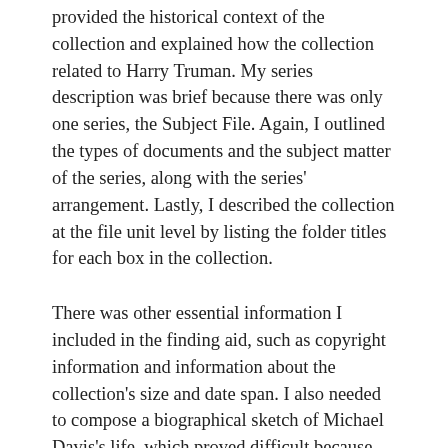provided the historical context of the collection and explained how the collection related to Harry Truman. My series description was brief because there was only one series, the Subject File. Again, I outlined the types of documents and the subject matter of the series, along with the series' arrangement. Lastly, I described the collection at the file unit level by listing the folder titles for each box in the collection.
There was other essential information I included in the finding aid, such as copyright information and information about the collection's size and date span. I also needed to compose a biographical sketch of Michael Davis's life, which proved difficult because the collection had little information about him. However, after some research in the archive, I was able to create a timeline of Michael Davis's education and employment history. My final step was to write the HTML webpage for the finding aid using a program called Dreamweaver. As a HTML document, the finding aid was added to the Truman Library's website where it is now